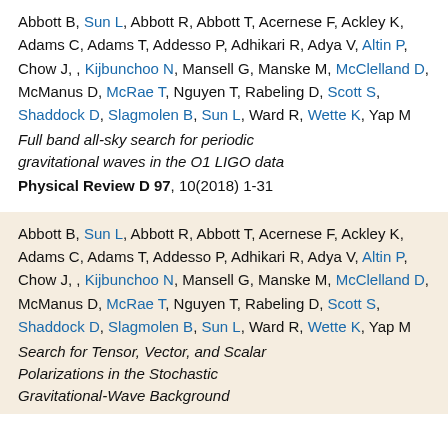Abbott B, Sun L, Abbott R, Abbott T, Acernese F, Ackley K, Adams C, Adams T, Addesso P, Adhikari R, Adya V, Altin P, Chow J, , Kijbunchoo N, Mansell G, Manske M, McClelland D, McManus D, McRae T, Nguyen T, Rabeling D, Scott S, Shaddock D, Slagmolen B, Sun L, Ward R, Wette K, Yap M
Full band all-sky search for periodic gravitational waves in the O1 LIGO data
Physical Review D 97, 10(2018) 1-31
Abbott B, Sun L, Abbott R, Abbott T, Acernese F, Ackley K, Adams C, Adams T, Addesso P, Adhikari R, Adya V, Altin P, Chow J, , Kijbunchoo N, Mansell G, Manske M, McClelland D, McManus D, McRae T, Nguyen T, Rabeling D, Scott S, Shaddock D, Slagmolen B, Sun L, Ward R, Wette K, Yap M
Search for Tensor, Vector, and Scalar Polarizations in the Stochastic Gravitational-Wave Background